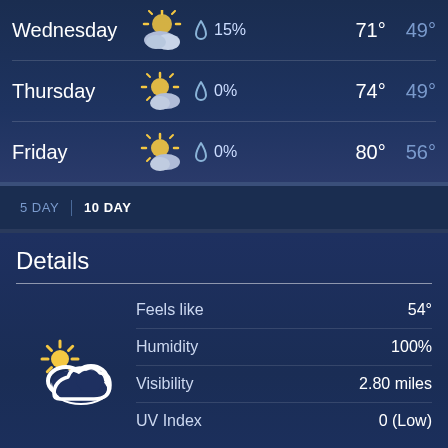| Day | Icon | Precipitation | High | Low |
| --- | --- | --- | --- | --- |
| Wednesday | partly cloudy | 15% | 71° | 49° |
| Thursday | partly sunny | 0% | 74° | 49° |
| Friday | partly sunny | 0% | 80° | 56° |
5 DAY  |  10 DAY
Details
| Detail | Value |
| --- | --- |
| Feels like | 54° |
| Humidity | 100% |
| Visibility | 2.80 miles |
| UV Index | 0 (Low) |
Today - Sunny with a high of 75 °F (23.9 °C). Winds variable at 3 to 8 mph (4.8 to 12.9 kph).
Tonight - Partly cloudy with a 35% chance of precipitation. Winds variable at 3 to 12 mph (4.8 to 19.3 kph). The overnight low will be 46